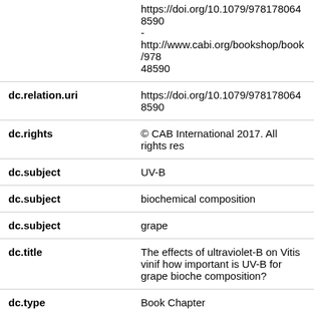| Field | Value |
| --- | --- |
|  | https://doi.org/10.1079/97817806485900 -
http://www.cabi.org/bookshop/book/9780 48590 |
| dc.relation.uri | https://doi.org/10.1079/97817806485900 |
| dc.rights | © CAB International 2017. All rights res |
| dc.subject | UV-B |
| dc.subject | biochemical composition |
| dc.subject | grape |
| dc.title | The effects of ultraviolet-B on Vitis vinif how important is UV-B for grape bioche composition? |
| dc.type | Book Chapter |
| lu.contributor.unit | Lincoln University |
| lu.contributor.unit | Faculty of Agriculture and Life Sciences |